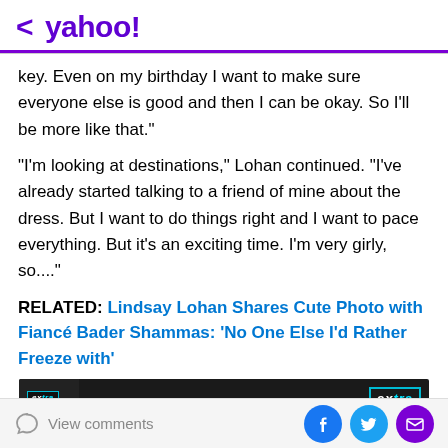< yahoo!
key. Even on my birthday I want to make sure everyone else is good and then I can be okay. So I'll be more like that."
"I'm looking at destinations," Lohan continued. "I've already started talking to a friend of mine about the dress. But I want to do things right and I want to pace everything. But it's an exciting time. I'm very girly, so...."
RELATED: Lindsay Lohan Shares Cute Photo with Fiancé Bader Shammas: 'No One Else I'd Rather Freeze with'
[Figure (screenshot): Video thumbnail with EXTRA logo and partial text 'Lindsay Lohan on WEDDING Pla...']
View comments